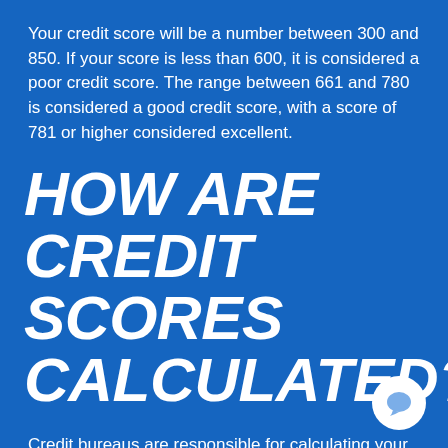Your credit score will be a number between 300 and 850. If your score is less than 600, it is considered a poor credit score. The range between 661 and 780 is considered a good credit score, with a score of 781 or higher considered excellent.
HOW ARE CREDIT SCORES CALCULATED?
Credit bureaus are responsible for calculating your credit score. Because there are multiple credit bureaus, you have multiple credit scores. Each score is calculated using the same five categories, but each bureau's specific algorithm used to calculate that score is kept private. As a result, they